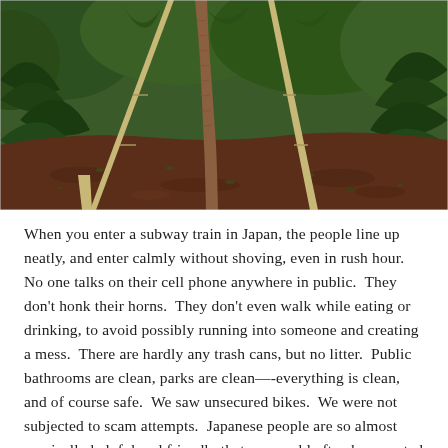[Figure (photo): Outdoor photo showing a young tree trunk supported by bamboo stakes, with dark reddish-brown soil ground cover and lush green tropical plants and leaves in the background.]
When you enter a subway train in Japan, the people line up neatly, and enter calmly without shoving, even in rush hour.  No one talks on their cell phone anywhere in public.  They don't honk their horns.  They don't even walk while eating or drinking, to avoid possibly running into someone and creating a mess.  There are hardly any trash cans, but no litter.  Public bathrooms are clean, parks are clean—-everything is clean, and of course safe.  We saw unsecured bikes.  We were not subjected to scam attempts.  Japanese people are so almost comically helpful and friendly that we would often be escorted to our destination by people helping